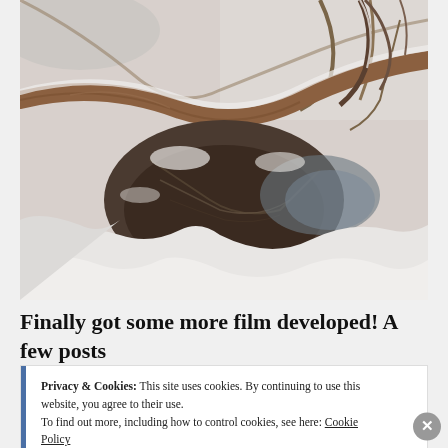[Figure (photo): Winter nature scene showing snow-covered ground with a fallen or leaning tree trunk with textured bark, rocks or a creek bed visible beneath the snow, and snow-laden branches in the background.]
Finally got some more film developed! A few posts
Privacy & Cookies: This site uses cookies. By continuing to use this website, you agree to their use.
To find out more, including how to control cookies, see here: Cookie Policy